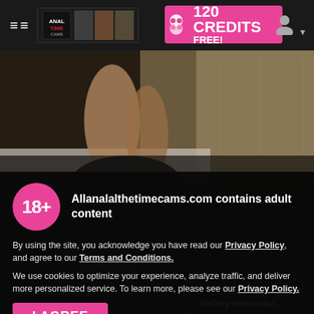≡  ANAL TIME CAMS  |  120 CREDITS FREE!
[Figure (screenshot): Blurred adult content photo showing a person on a bed]
18+  Allanalalthetimecams.com contains adult content
By using the site, you acknowledge you have read our Privacy Policy, and agree to our Terms and Conditions.
We use cookies to optimize your experience, analyze traffic, and deliver more personalized service. To learn more, please see our Privacy Policy.
I AGREE